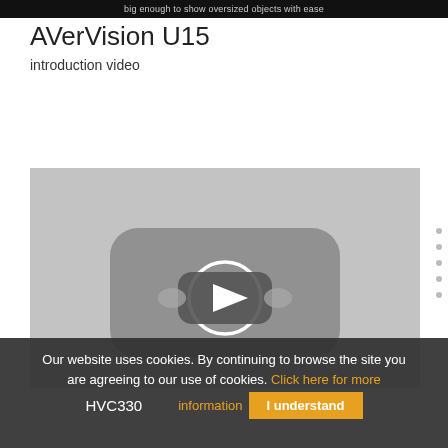big enough to show oversized objects with ease
AVerVision U15
introduction video
[Figure (screenshot): YouTube video player thumbnail showing a YouTube logo play button in the center on a gray background with a blurry document camera image behind it]
Our website uses cookies. By continuing to browse the site you are agreeing to our use of cookies. Click here for more information  I understand  HVC330